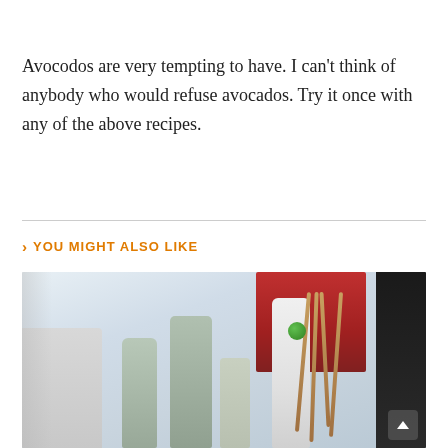Avocodos are very tempting to have. I can't think of anybody who would refuse avocados. Try it once with any of the above recipes.
YOU MIGHT ALSO LIKE
[Figure (photo): A lifestyle/home decor photo showing ceramic bottles and vases of various sizes in muted green and white tones on a table, with a red chair in the background and bamboo sticks in a holder on the right side.]